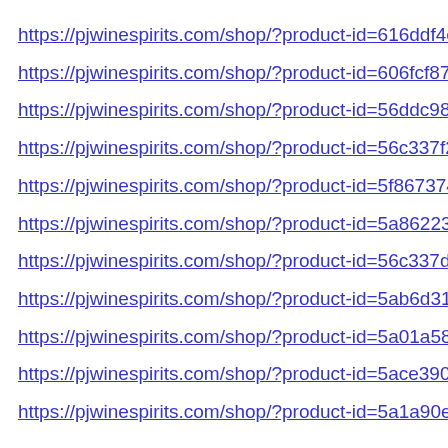https://pjwinespirits.com/shop/?product-id=616ddf4e55a…
https://pjwinespirits.com/shop/?product-id=606fcf87468…
https://pjwinespirits.com/shop/?product-id=56ddc98569…
https://pjwinespirits.com/shop/?product-id=56c337f269…
https://pjwinespirits.com/shop/?product-id=5f8673745b…
https://pjwinespirits.com/shop/?product-id=5a862238ba…
https://pjwinespirits.com/shop/?product-id=56c337db69…
https://pjwinespirits.com/shop/?product-id=5ab6d31cba…
https://pjwinespirits.com/shop/?product-id=5a01a58e69…
https://pjwinespirits.com/shop/?product-id=5ace3904db…
https://pjwinespirits.com/shop/?product-id=5a1a90e361…